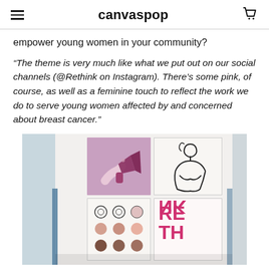canvaspop
empower young women in your community?
“The theme is very much like what we put out on our social channels (@Rethink on Instagram). There’s some pink, of course, as well as a feminine touch to reflect the work we do to serve young women affected by and concerned about breast cancer.”
[Figure (photo): Photo of a wall display showing four canvases: top-left has a pink/purple illustration of a hand holding a megaphone, top-right has a minimalist line drawing of a female figure, bottom-left has a grid of circles in various skin tones, bottom-right has the word RETHINK in bold pink letters arranged in a stylized layout. The display is in a bright white room with windows on both sides.]